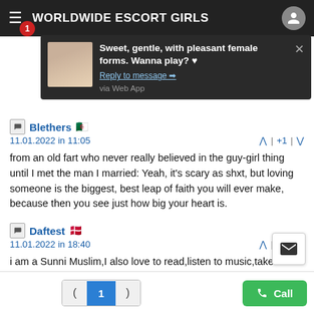WORLDWIDE ESCORT GIRLS
[Figure (screenshot): Notification popup: Sweet, gentle, with pleasant female forms. Wanna play? ♥ — Reply to message → — via Web App]
Blethers 🇩🇿
11.01.2022 in 11:05
from an old fart who never really believed in the guy-girl thing until I met the man I married: Yeah, it's scary as shxt, but loving someone is the biggest, best leap of faith you will ever make, because then you see just how big your heart is.
Daftest 🇩🇰
11.01.2022 in 18:40
i am a Sunni Muslim,I also love to read,listen to music,take walks,go to movies,go to mall,and i am a very open hearted perso.